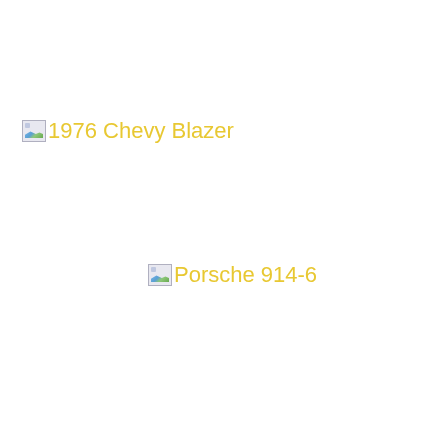1976 Chevy Blazer
Porsche 914-6